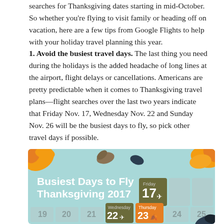searches for Thanksgiving dates starting in mid-October. So whether you're flying to visit family or heading off on vacation, here are a few tips from Google Flights to help with your holiday travel planning this year.
1. Avoid the busiest travel days. The last thing you need during the holidays is the added headache of long lines at the airport, flight delays or cancellations. Americans are pretty predictable when it comes to Thanksgiving travel plans—flight searches over the last two years indicate that Friday Nov. 17, Wednesday Nov. 22 and Sunday Nov. 26 will be the busiest days to fly, so pick other travel days if possible.
[Figure (infographic): Infographic titled 'Busiest Days to Fly Thanksgiving 2017' on a light blue background with autumn leaves decorations. Shows a calendar layout with highlighted days: Friday 17 (olive/dark green tile with airplane icon), Wednesday 22 (olive tile with airplane icon), Thursday 23 (orange tile with leaf icon). Other calendar days shown in muted gray: 19, 20, 21, 24, 25 and a partial row below.]